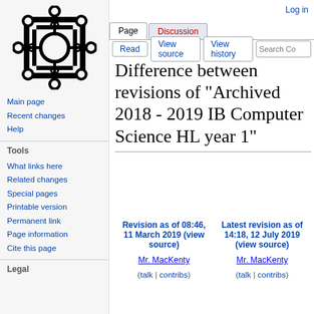[Figure (logo): Wikipedia-style gear/network logo in black on light gray background]
Main page
Recent changes
Help
Tools
What links here
Related changes
Special pages
Printable version
Permanent link
Page information
Cite this page
Legal
Log in
Difference between revisions of "Archived 2018 - 2019 IB Computer Science HL year 1"
| Revision as of 08:46, 11 March 2019 (view source) | Latest revision as of 14:18, 12 July 2019 (view source) |
| --- | --- |
| Mr. MacKenty | Mr. MacKenty |
| (talk | contribs) | (talk | contribs) |